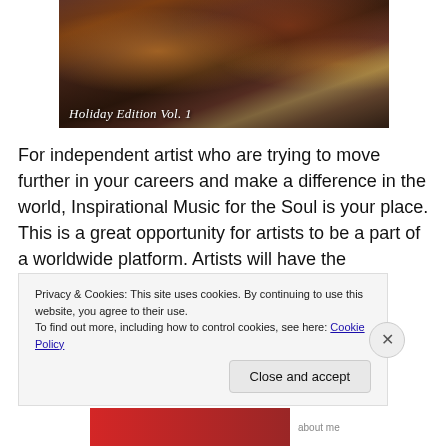[Figure (photo): A holiday-themed room interior with warm lighting, fireplace, Christmas decorations, and furniture. Text overlay reads 'Holiday Edition Vol. 1']
For independent artist who are trying to move further in your careers and make a difference in the world, Inspirational Music for the Soul is your place. This is a great opportunity for artists to be a part of a worldwide platform. Artists will have the opportunity to work with other artists on the compilation to worshining God
Privacy & Cookies: This site uses cookies. By continuing to use this website, you agree to their use.
To find out more, including how to control cookies, see here: Cookie Policy
Close and accept